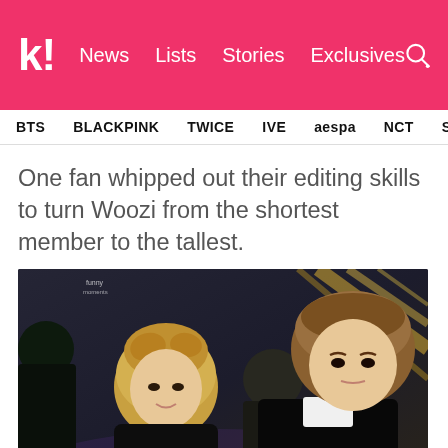k! News Lists Stories Exclusives
BTS BLACKPINK TWICE IVE aespa NCT SEVE
One fan whipped out their editing skills to turn Woozi from the shortest member to the tallest.
[Figure (photo): Photo of K-pop group members on stage, two members visible in the foreground — one with blonde hair on the left in a dark outfit, one with brown hair on the right in a dark suit with white shirt. Additional members partially visible in background. Stage has golden diagonal lighting elements in upper right.]